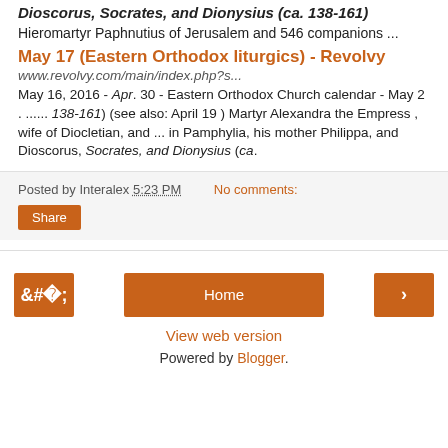Dioscorus, Socrates, and Dionysius (ca. 138-161) Hieromartyr Paphnutius of Jerusalem and 546 companions ...
May 17 (Eastern Orthodox liturgics) - Revolvy
www.revolvy.com/main/index.php?s...
May 16, 2016 - Apr. 30 - Eastern Orthodox Church calendar - May 2 . ...... 138-161) (see also: April 19 ) Martyr Alexandra the Empress , wife of Diocletian, and ... in Pamphylia, his mother Philippa, and Dioscorus, Socrates, and Dionysius (ca.
Posted by Interalex 5:23 PM   No comments:
Share
Home
View web version
Powered by Blogger.